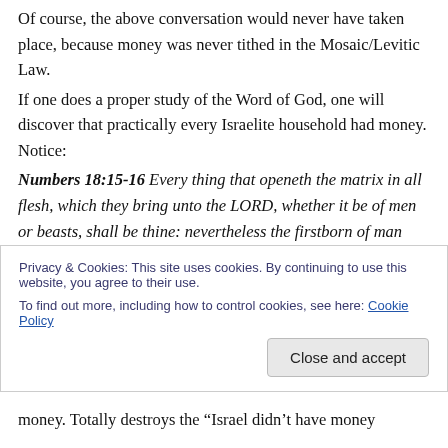Of course, the above conversation would never have taken place, because money was never tithed in the Mosaic/Levitic Law.
If one does a proper study of the Word of God, one will discover that practically every Israelite household had money. Notice:
Numbers 18:15-16 Every thing that openeth the matrix in all flesh, which they bring unto the LORD, whether it be of men or beasts, shall be thine: nevertheless the firstborn of man shalt thou surely redeem, and the firstling of unclean [beasts shalt thou redeem. And those that are to be redeemed from a month old shalt thou redeem, according to thine estimation, for the money of five shekels, after the shekel of the sanctuary, which is twenty gerahs.] money. Totally destroys the "Israel didn't have money
Privacy & Cookies: This site uses cookies. By continuing to use this website, you agree to their use.
To find out more, including how to control cookies, see here: Cookie Policy
Close and accept